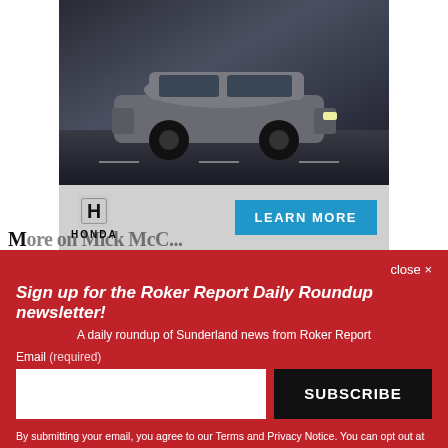[Figure (illustration): Honda advertisement showing a gray SUV (CRV) driving on a road with a blue 'LEARN MORE' button and Honda logo]
POWERED BY CONCERT    FEEDBACK
M...
close ×
Sign up for the Roker Report Daily Roundup newsletter!
A daily roundup of Sunderland news from Roker Report
Email (required)
SUBSCRIBE
By submitting your email, you agree to our Terms and Privacy Notice. You can opt out at any time. This site is protected by reCAPTCHA and the Google Privacy Policy and Terms of Service apply.